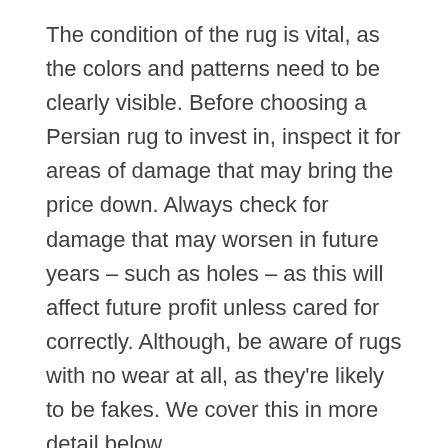The condition of the rug is vital, as the colors and patterns need to be clearly visible. Before choosing a Persian rug to invest in, inspect it for areas of damage that may bring the price down. Always check for damage that may worsen in future years – such as holes – as this will affect future profit unless cared for correctly. Although, be aware of rugs with no wear at all, as they're likely to be fakes. We cover this in more detail below.
Assess the quality of the materials used in crafting the rug. Natural dyes with clear coloring are valued higher than chemical dyes. Similarly, the best materials for the yarn are wool or silk. The quality of yarn can also indicate how well the rug will age. A Persian rug made